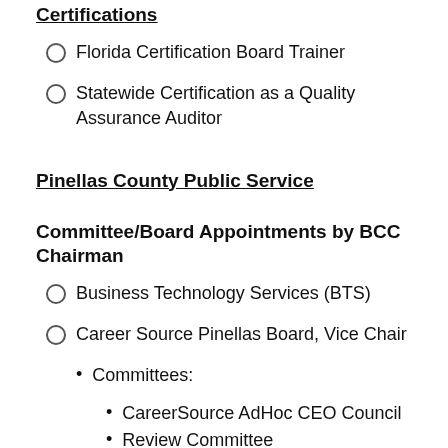Certifications
Florida Certification Board Trainer
Statewide Certification as a Quality Assurance Auditor
Pinellas County Public Service
Committee/Board Appointments by BCC Chairman
Business Technology Services (BTS)
Career Source Pinellas Board, Vice Chair
Committees:
CareerSource AdHoc CEO Council
Review Committee